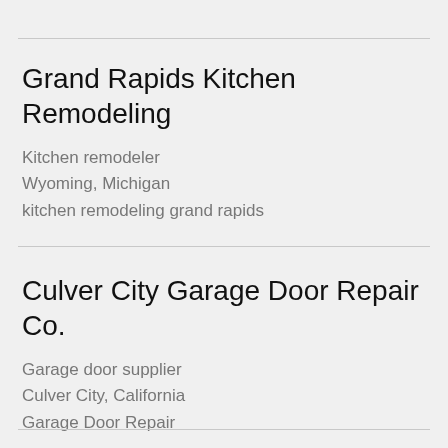Grand Rapids Kitchen Remodeling
Kitchen remodeler
Wyoming, Michigan
kitchen remodeling grand rapids
Culver City Garage Door Repair Co.
Garage door supplier
Culver City, California
Garage Door Repair